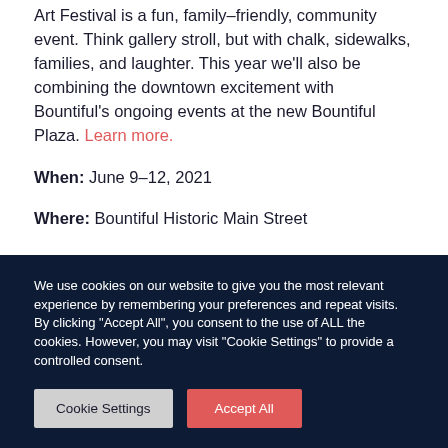Art Festival is a fun, family-friendly, community event. Think gallery stroll, but with chalk, sidewalks, families, and laughter. This year we'll also be combining the downtown excitement with Bountiful's ongoing events at the new Bountiful Plaza. Learn more.
When: June 9–12, 2021
Where: Bountiful Historic Main Street
We use cookies on our website to give you the most relevant experience by remembering your preferences and repeat visits. By clicking "Accept All", you consent to the use of ALL the cookies. However, you may visit "Cookie Settings" to provide a controlled consent.